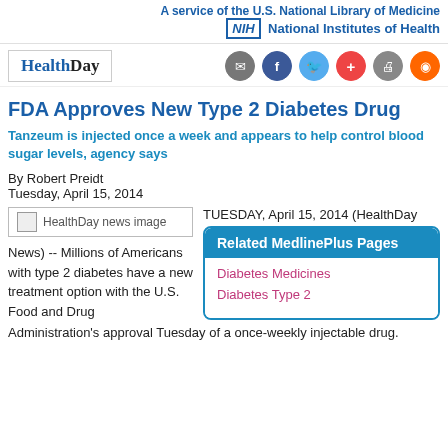A service of the U.S. National Library of Medicine
NIH National Institutes of Health
[Figure (logo): HealthDay logo]
FDA Approves New Type 2 Diabetes Drug
Tanzeum is injected once a week and appears to help control blood sugar levels, agency says
By Robert Preidt
Tuesday, April 15, 2014
TUESDAY, April 15, 2014 (HealthDay News) -- Millions of Americans with type 2 diabetes have a new treatment option with the U.S. Food and Drug Administration's approval Tuesday of a once-weekly injectable drug.
Related MedlinePlus Pages
Diabetes Medicines
Diabetes Type 2